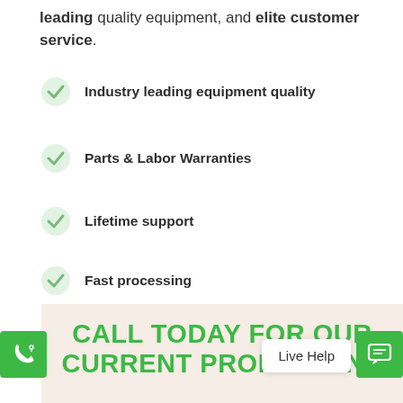leading quality equipment, and elite customer service.
Industry leading equipment quality
Parts & Labor Warranties
Lifetime support
Fast processing
FREE Nationwide shipping w/ curbside delivery
CALL TODAY FOR OUR CURRENT PROMOTIONS
Live Help